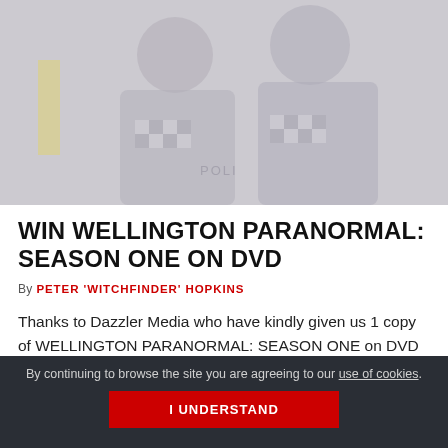[Figure (photo): Two people in police uniforms, slightly faded/washed out image used as hero image for Wellington Paranormal article]
WIN WELLINGTON PARANORMAL: SEASON ONE ON DVD
By PETER 'WITCHFINDER' HOPKINS
Thanks to Dazzler Media who have kindly given us 1 copy of WELLINGTON PARANORMAL: SEASON ONE on DVD to giveaway. To be in with a...
By continuing to browse the site you are agreeing to our use of cookies.
I UNDERSTAND